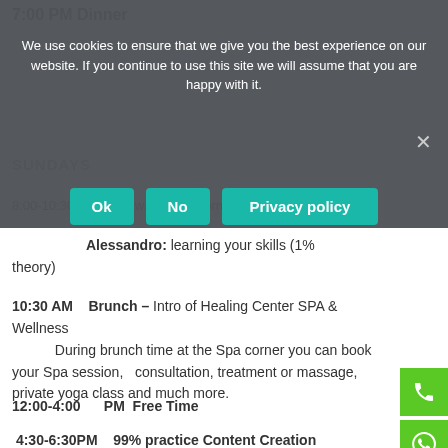7:00 PM Dinner
We use cookies to ensure that we give you the best experience on our website. If you continue to use this site we will assume that you are happy with it.
Ok   No   Privacy policy
SUNDAYS
8:00-10:30   Paula: awakening morning flow (Vinyasa)
Alessandro: learning your skills (1% theory)
10:30 AM   Brunch – Intro of Healing Center SPA & Wellness
During brunch time at the Spa corner you can book your Spa session,   consultation, treatment or massage, private yoga class and much more.
12:00-4:00   PM  Free Time
4:30-6:30PM   99% practice Content Creation Session